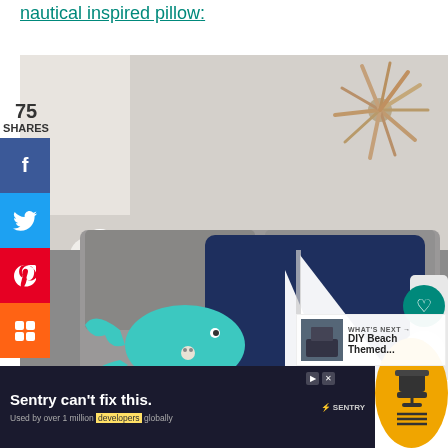nautical inspired pillow:
[Figure (photo): A navy blue decorative pillow with a white sailboat design, displayed on a grey couch next to a teal stuffed whale toy. White flowers and a driftwood sunburst wall decor are visible in the background.]
[Figure (infographic): Social media sharing sidebar with Facebook (blue), Twitter (light blue), Pinterest (red), and Mix (orange) buttons. Shows 75 shares count.]
[Figure (infographic): Right-side overlay with heart button (teal), count of 76, and share button (teal).]
WHAT'S NEXT → DIY Beach Themed...
[Figure (advertisement): Sentry advertisement: 'Sentry can't fix this.' with tagline 'Used by over 1 million developers globally'. Dark background with cartoon figures and Sentry logo.]